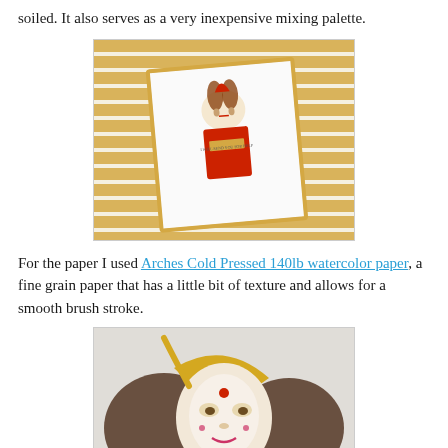soiled. It also serves as a very inexpensive mixing palette.
[Figure (photo): A painted card featuring a Star Wars Queen Amidala character in red and gold costume, placed on a gold and white striped background.]
For the paper I used Arches Cold Pressed 140lb watercolor paper, a fine grain paper that has a little bit of texture and allows for a smooth brush stroke.
[Figure (photo): Close-up of a watercolor painting of Queen Amidala's face with elaborate headdress in yellow, red, brown, and white tones.]